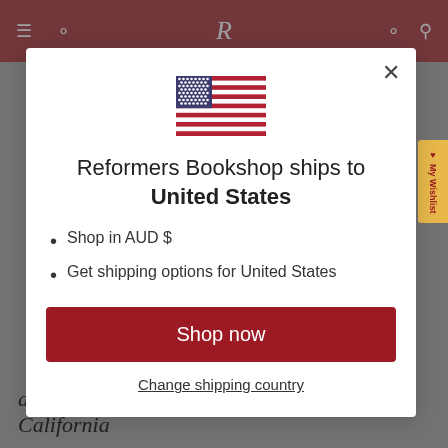[Figure (screenshot): Website navigation bar with dark red background, hamburger menu icon, search icon, R logo in center, account icon, and cart icon]
[Figure (illustration): US flag emoji/icon centered in modal dialog]
Reformers Bookshop ships to United States
Shop in AUD $
Get shipping options for United States
Shop now
Change shipping country
and Apologetics, Westminster Seminary, California